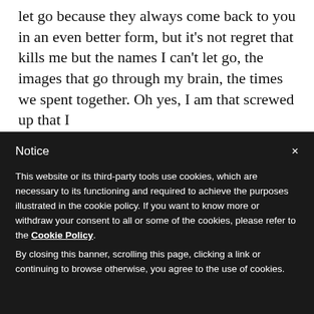let go because they always come back to you in an even better form, but it's not regret that kills me but the names I can't let go, the images that go through my brain, the times we spent together. Oh yes, I am that screwed up that I
Notice
This website or its third-party tools use cookies, which are necessary to its functioning and required to achieve the purposes illustrated in the cookie policy. If you want to know more or withdraw your consent to all or some of the cookies, please refer to the Cookie Policy.
By closing this banner, scrolling this page, clicking a link or continuing to browse otherwise, you agree to the use of cookies.